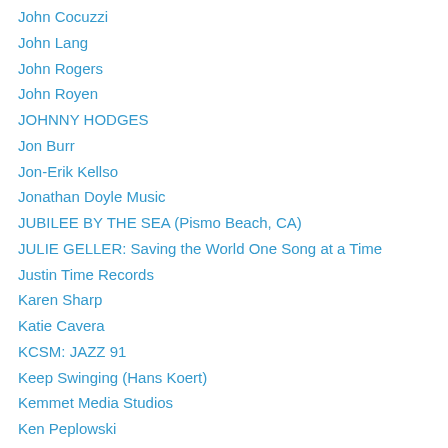John Cocuzzi
John Lang
John Rogers
John Royen
JOHNNY HODGES
Jon Burr
Jon-Erik Kellso
Jonathan Doyle Music
JUBILEE BY THE SEA (Pismo Beach, CA)
JULIE GELLER: Saving the World One Song at a Time
Justin Time Records
Karen Sharp
Katie Cavera
KCSM: JAZZ 91
Keep Swinging (Hans Koert)
Kemmet Media Studios
Ken Peplowski
Kevin Dorn
Kim Cusack
Kirk Knuffke